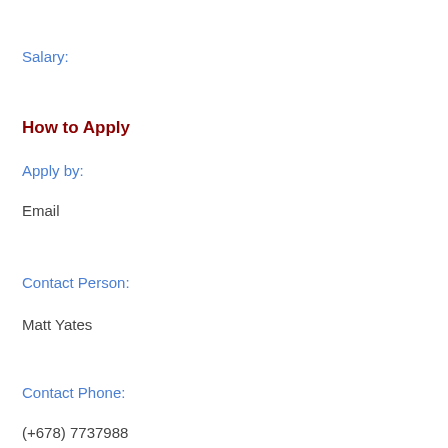Salary:
How to Apply
Apply by:
Email
Contact Person:
Matt Yates
Contact Phone:
(+678) 7737988